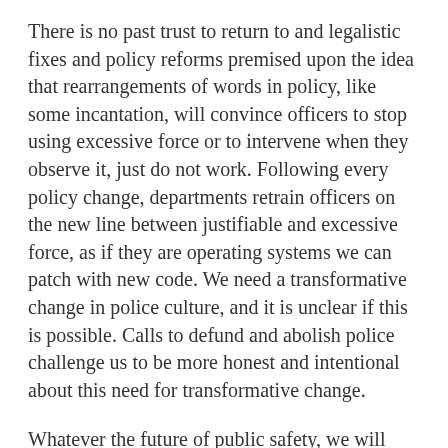There is no past trust to return to and legalistic fixes and policy reforms premised upon the idea that rearrangements of words in policy, like some incantation, will convince officers to stop using excessive force or to intervene when they observe it, just do not work. Following every policy change, departments retrain officers on the new line between justifiable and excessive force, as if they are operating systems we can patch with new code. We need a transformative change in police culture, and it is unclear if this is possible. Calls to defund and abolish police challenge us to be more honest and intentional about this need for transformative change.
Whatever the future of public safety, we will need authorities “standing up” for equal justice, rather than “standing by” while fellow officers brutalize the people they are sworn to protect. Upstanding police action must be more common than aiding and abetting police